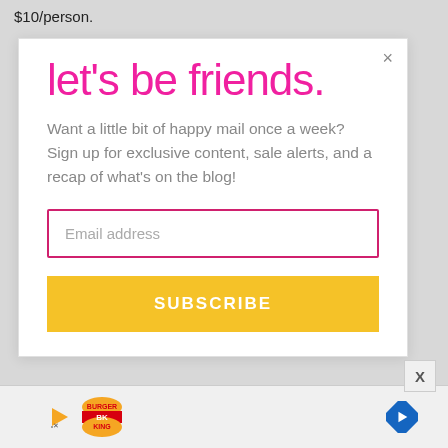$10/person.
let's be friends.
Want a little bit of happy mail once a week? Sign up for exclusive content, sale alerts, and a recap of what's on the blog!
[Figure (screenshot): Email address input field with pink border and Subscribe button in yellow]
[Figure (logo): Burger King advertisement with play icon and navigation arrow icon]